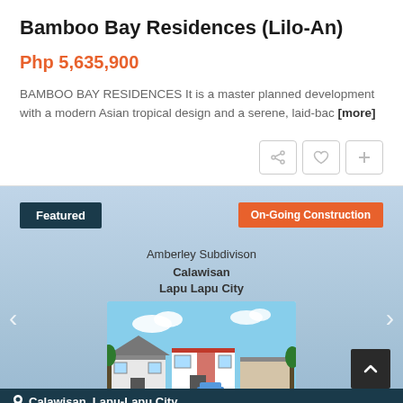Bamboo Bay Residences (Lilo-An)
Php 5,635,900
BAMBOO BAY RESIDENCES It is a master planned development with a modern Asian tropical design and a serene, laid-bac [more]
[Figure (screenshot): Real estate listing card showing Featured badge, On-Going Construction badge, Amberley Subdivison, Calawisan, Lapu Lapu City, and a photo of modern residential houses with blue sky, navigation arrows, and a back-to-top button]
Calawisan, Lapu-Lapu City